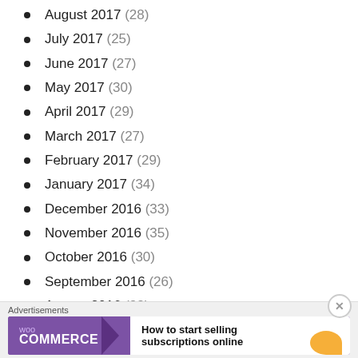August 2017 (28)
July 2017 (25)
June 2017 (27)
May 2017 (30)
April 2017 (29)
March 2017 (27)
February 2017 (29)
January 2017 (34)
December 2016 (33)
November 2016 (35)
October 2016 (30)
September 2016 (26)
August 2016 (33)
July 2016 (41)
[Figure (screenshot): WooCommerce advertisement banner: 'How to start selling subscriptions online']